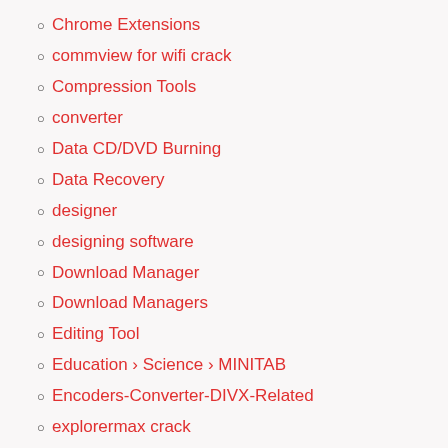Chrome Extensions
commview for wifi crack
Compression Tools
converter
Data CD/DVD Burning
Data Recovery
designer
designing software
Download Manager
Download Managers
Editing Tool
Education › Science › MINITAB
Encoders-Converter-DIVX-Related
explorermax crack
File managers